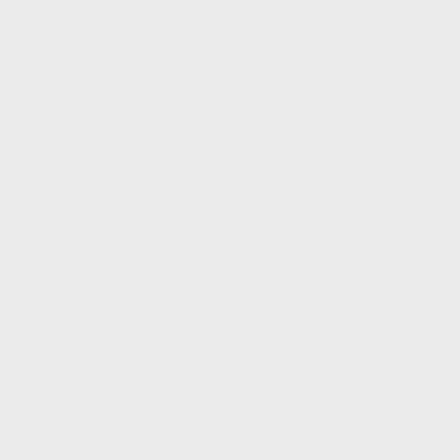If you plan to use the Host database se dependency chain.
Database
See Integration with UCS/Database for migration, adjust the ini variables to the done.
Keep in mind that if you are using the th need to be adjusted to not go against lo configured).
Data migration
You can copy some data from the old A then use this data while setting up the A
See Docker Apps/Container Scripts: Yo restore_data_after_setup. Keep in mi directories that will then be present on t
Access
Tasks that could be accomplished by a